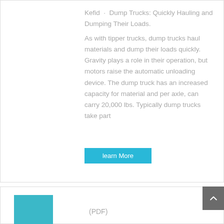Kefid · Dump Trucks: Quickly Hauling and Dumping Their Loads.
As with tipper trucks, dump trucks haul materials and dump their loads quickly. Gravity plays a role in their operation, but motors raise the automatic unloading device. The dump truck has an increased capacity for material and per axle, can carry 20,000 lbs. Typically dump trucks take part
learn More
[Figure (photo): Partial photo of a teal/turquoise dump truck with trees and utility lines in background]
(PDF)